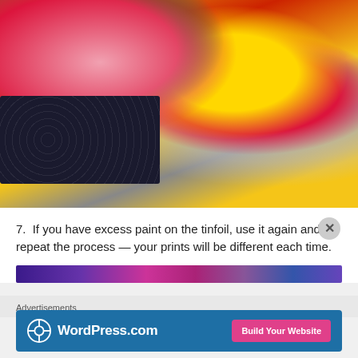[Figure (photo): Colorful paint on tinfoil and paper showing red, yellow, and green swirling paint prints. A dark decorative card with silver patterns is visible in the lower left.]
If you have excess paint on the tinfoil, use it again and repeat the process — your prints will be different each time.
[Figure (photo): Partial view of another colorful paint print image in purple, pink and blue tones.]
Advertisements
[Figure (logo): WordPress.com advertisement banner with logo and 'Build Your Website' call-to-action button.]